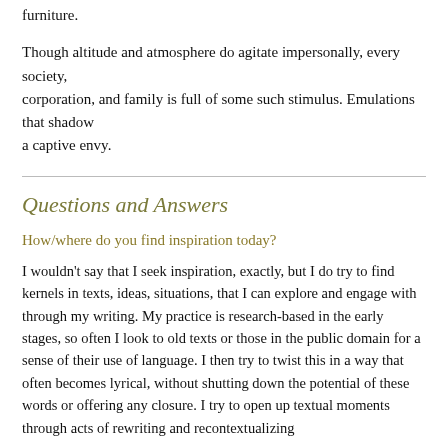furniture.
Though altitude and atmosphere do agitate impersonally, every society,
corporation, and family is full of some such stimulus. Emulations that shadow
a captive envy.
Questions and Answers
How/where do you find inspiration today?
I wouldn't say that I seek inspiration, exactly, but I do try to find kernels in texts, ideas, situations, that I can explore and engage with through my writing. My practice is research-based in the early stages, so often I look to old texts or those in the public domain for a sense of their use of language. I then try to twist this in a way that often becomes lyrical, without shutting down the potential of these words or offering any closure. I try to open up textual moments through acts of rewriting and recontextualizing